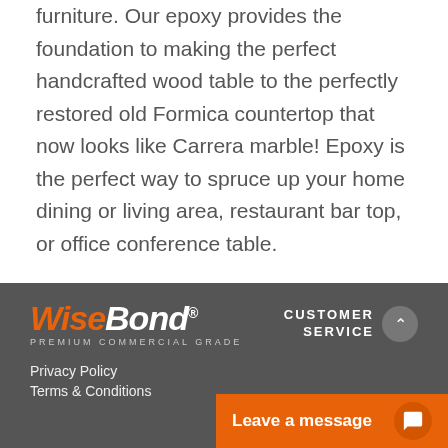furniture. Our epoxy provides the foundation to making the perfect handcrafted wood table to the perfectly restored old Formica countertop that now looks like Carrera marble! Epoxy is the perfect way to spruce up your home dining or living area, restaurant bar top, or office conference table.
Order Your Epoxy Today
[Figure (logo): WiseBond logo with orange italic 'Wise' and white bold italic 'Bond', registered trademark symbol, subtitle 'PREMIUM COMMERCIAL GRADE' in white small caps on dark gray footer background]
CUSTOMER SERVICE
Privacy Policy
Terms & Conditions
Leave a message